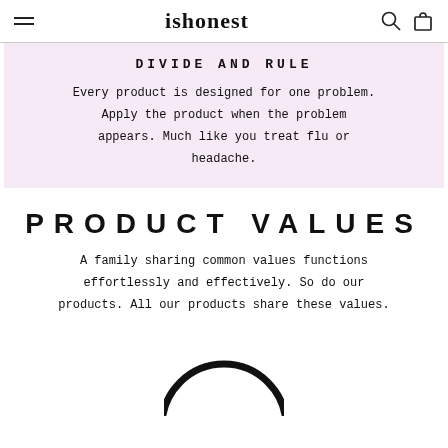ishonest
DIVIDE AND RULE
Every product is designed for one problem. Apply the product when the problem appears. Much like you treat flu or headache.
PRODUCT VALUES
A family sharing common values functions effortlessly and effectively. So do our products. All our products share these values.
[Figure (illustration): Partial black circle/ring shape at the bottom of the page]